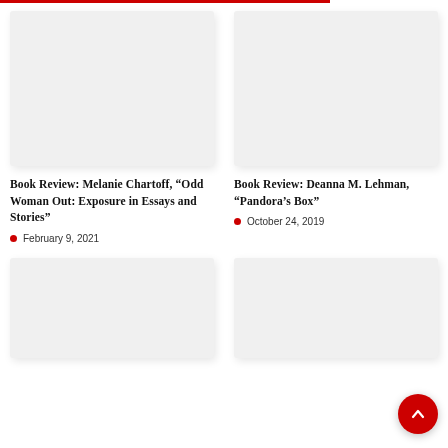[Figure (photo): Blank light gray placeholder image for book review card 1]
Book Review: Melanie Chartoff, “Odd Woman Out: Exposure in Essays and Stories”
February 9, 2021
[Figure (photo): Blank light gray placeholder image for book review card 2]
Book Review: Deanna M. Lehman, “Pandora’s Box”
October 24, 2019
[Figure (photo): Blank light gray placeholder image for book review card 3 (bottom left)]
[Figure (photo): Blank light gray placeholder image for book review card 4 (bottom right, partial)]